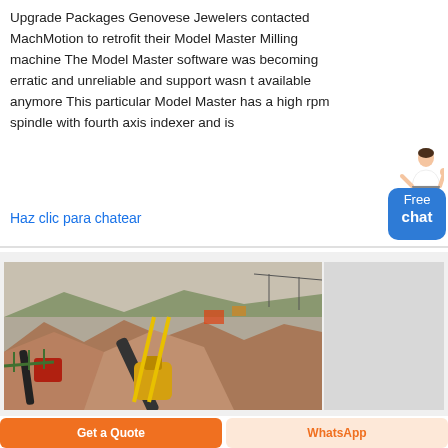Upgrade Packages Genovese Jewelers contacted MachMotion to retrofit their Model Master Milling machine The Model Master software was becoming erratic and unreliable and support wasn t available anymore This particular Model Master has a high rpm spindle with fourth axis indexer and is
Haz clic para chatear
[Figure (photo): Outdoor mining or quarrying site with piles of crushed rock/gravel, conveyor belts, a yellow cone crusher machine, and hilly terrain in the background.]
Get a Quote
WhatsApp